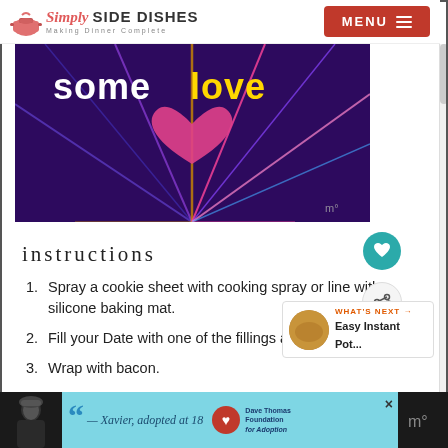Simply SIDE DISHES Making Dinner Complete | MENU
[Figure (screenshot): Video thumbnail with purple/dark background showing colorful laser light rays and the text 'some love' in bold white and yellow letters. A pink/magenta heart shape is visible in the center. Small 'm°' watermark at bottom right.]
instructions
Spray a cookie sheet with cooking spray or line with a silicone baking mat.
Fill your Date with one of the fillings above.
Wrap with bacon.
Place a toothpick through the Date.
[Figure (photo): "What's Next" widget showing a circular photo of a soup or beverage and text: WHAT'S NEXT → Easy Instant Pot...]
[Figure (screenshot): Advertisement banner at bottom: dark background on sides with person in beanie hat, cyan/teal center panel with quote mark and text '— Xavier, adopted at 18', Dave Thomas Foundation for Adoption logo, and close X button.]